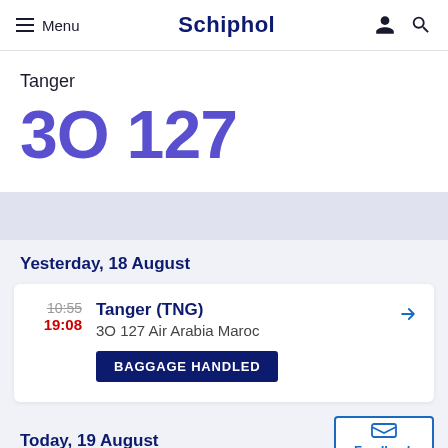Menu | Schiphol
Tanger
3O 127
Yesterday, 18 August
| Time | Destination | Flight | Status |
| --- | --- | --- | --- |
| 10:55 / 19:08 | Tanger (TNG) | 3O 127 Air Arabia Maroc | BAGGAGE HANDLED |
Today, 19 August